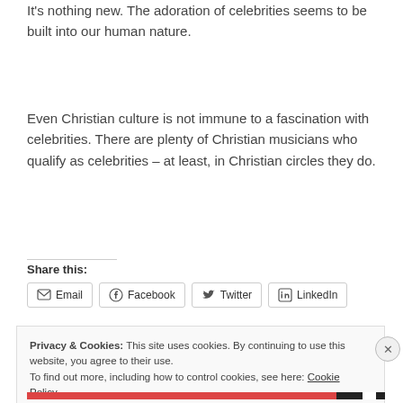It's nothing new. The adoration of celebrities seems to be built into our human nature.
Even Christian culture is not immune to a fascination with celebrities. There are plenty of Christian musicians who qualify as celebrities – at least, in Christian circles they do.
Continue reading →
Share this:
Email  Facebook  Twitter  LinkedIn
Privacy & Cookies: This site uses cookies. By continuing to use this website, you agree to their use.
To find out more, including how to control cookies, see here: Cookie Policy
Close and accept